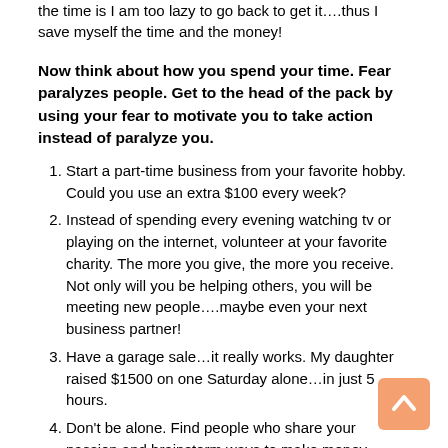the time is I am too lazy to go back to get it….thus I save myself the time and the money!
Now think about how you spend your time. Fear paralyzes people. Get to the head of the pack by using your fear to motivate you to take action instead of paralyze you.
Start a part-time business from your favorite hobby. Could you use an extra $100 every week?
Instead of spending every evening watching tv or playing on the internet, volunteer at your favorite charity. The more you give, the more you receive. Not only will you be helping others, you will be meeting new people….maybe even your next business partner!
Have a garage sale…it really works. My daughter raised $1500 on one Saturday alone…in just 5 hours.
Don't be alone. Find people who share your passion and brainstorm ways to make money together. 1 + 1 can equal 11… if you put your